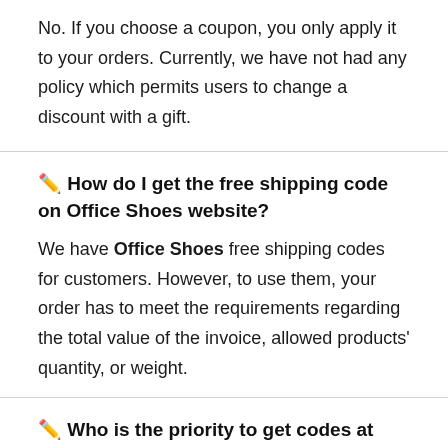No. If you choose a coupon, you only apply it to your orders. Currently, we have not had any policy which permits users to change a discount with a gift.
🖊 How do I get the free shipping code on Office Shoes website?
We have Office Shoes free shipping codes for customers. However, to use them, your order has to meet the requirements regarding the total value of the invoice, allowed products' quantity, or weight.
🖊 Who is the priority to get codes at Office Shoes?
We provide coupon codes for all customers. However,